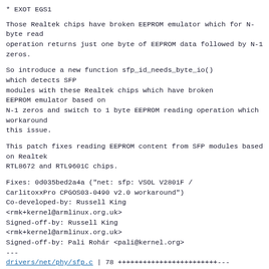* EXOT EGS1
Those Realtek chips have broken EEPROM emulator which for N-byte read
operation returns just one byte of EEPROM data followed by N-1 zeros.
So introduce a new function sfp_id_needs_byte_io()
which detects SFP
modules with these Realtek chips which have broken
EEPROM emulator based on
N-1 zeros and switch to 1 byte EEPROM reading operation which workaround
this issue.
This patch fixes reading EEPROM content from SFP modules based on Realtek
RTL8672 and RTL9601C chips.
Fixes: 0d035bed2a4a ("net: sfp: VSOL V2801F /
CarlitoxxPro CPGOS03-0490 v2.0 workaround")
Co-developed-by: Russell King
<rmk+kernel@armlinux.org.uk>
Signed-off-by: Russell King
<rmk+kernel@armlinux.org.uk>
Signed-off-by: Pali Rohár <pali@kernel.org>
---
 drivers/net/phy/sfp.c | 78 ++++++++++++++++++++++++---
 ----------------
 1 file changed, 44 insertions(+), 34 deletions(-)